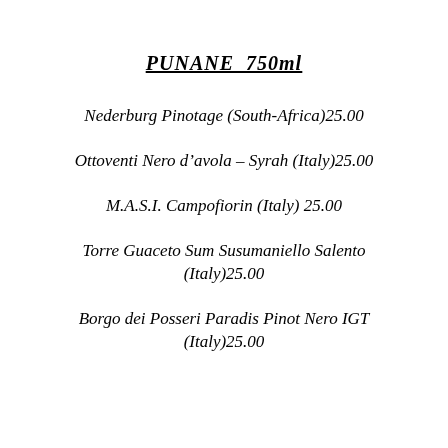PUNANE  750ml
Nederburg Pinotage (South-Africa)25.00
Ottoventi Nero d’avola – Syrah (Italy)25.00
M.A.S.I. Campofiorin (Italy) 25.00
Torre Guaceto Sum Susumaniello Salento (Italy)25.00
Borgo dei Posseri Paradis Pinot Nero IGT (Italy)25.00